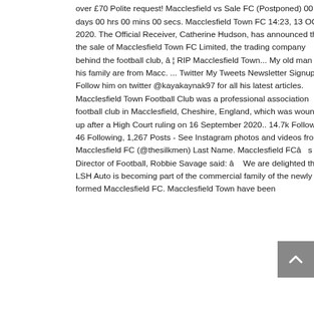over £70 Polite request! Macclesfield vs Sale FC (Postponed) 00 days 00 hrs 00 mins 00 secs. Macclesfield Town FC 14:23, 13 OCT 2020. The Official Receiver, Catherine Hudson, has announced that the sale of Macclesfield Town FC Limited, the trading company behind the football club, â¦ RIP Macclesfield Town... My old man and his family are from Macc. ... Twitter My Tweets Newsletter Signup. Follow him on twitter @kayakaynak97 for all his latest articles. Macclesfield Town Football Club was a professional association football club in Macclesfield, Cheshire, England, which was wound-up after a High Court ruling on 16 September 2020.. 14.7k Followers, 46 Following, 1,267 Posts - See Instagram photos and videos from Macclesfield FC (@thesilkmen) Last Name. Macclesfield FCâs Director of Football, Robbie Savage said: â We are delighted that LSH Auto is becoming part of the commercial family of the newly formed Macclesfield FC. Macclesfield Town have been